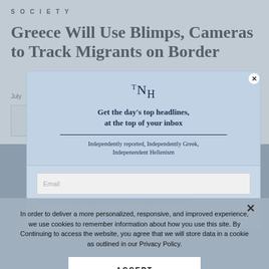SOCIETY
Greece Will Use Blimps, Cameras to Track Migrants on Border
July
[Figure (screenshot): Newsletter signup modal for The National Herald (TNH) with blue background, showing TNH logo, tagline 'Get the day’s top headlines, at the top of your inbox', subtitle 'Independently reported, Independently Greek, Indepenendent Hellenism', and an email input field.]
Provide your email address to subscribe. For e.g. abc@xyz.com
I agree to receive your newsletters and
[Figure (screenshot): Cookie consent banner with text about cookies and personalized experience, an ACCEPT button, and a Cookie Settings link.]
In order to deliver a more personalized, responsive, and improved experience, we use cookies to remember information about how you use this site. By Continuing to access the website, you agree that we will store data in a cookie as outlined in our Privacy Policy.
ACCEPT
Cookie Settings